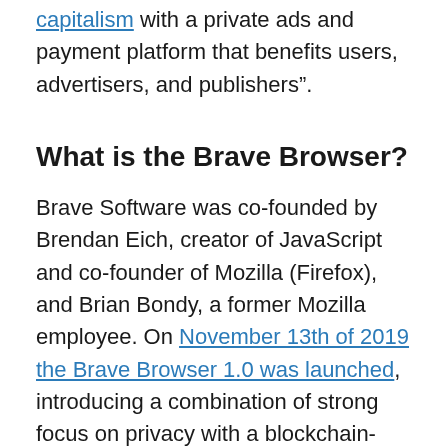capitalism with a private ads and payment platform that benefits users, advertisers, and publishers".
What is the Brave Browser?
Brave Software was co-founded by Brendan Eich, creator of JavaScript and co-founder of Mozilla (Firefox), and Brian Bondy, a former Mozilla employee. On November 13th of 2019 the Brave Browser 1.0 was launched, introducing a combination of strong focus on privacy with a blockchain-based digital advertising platform. The blockchain technology is used to anonymously and securely track user attention and interaction with digital advertising content, and that information